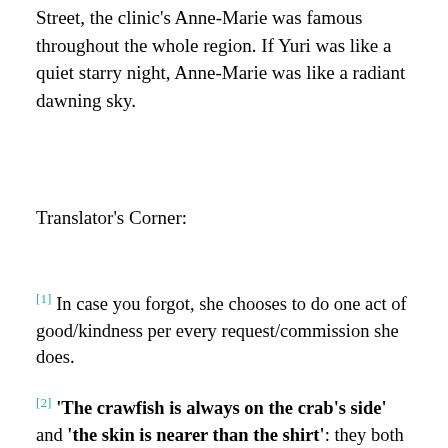Street, the clinic's Anne-Marie was famous throughout the whole region. If Yuri was like a quiet starry night, Anne-Marie was like a radiant dawning sky.
Translator's Corner:
[1] In case you forgot, she chooses to do one act of good/kindness per every request/commission she does.
[2] 'The crawfish is always on the crab's side' and 'the skin is nearer than the shirt': they both mean, people side with their own/ stick up for their own. Whether it's family or friends.